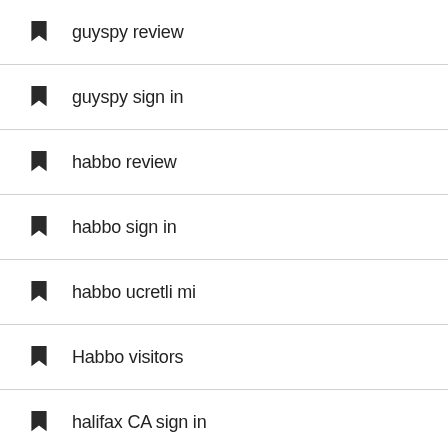guyspy review
guyspy sign in
habbo review
habbo sign in
habbo ucretli mi
Habbo visitors
halifax CA sign in
hampton escort radar